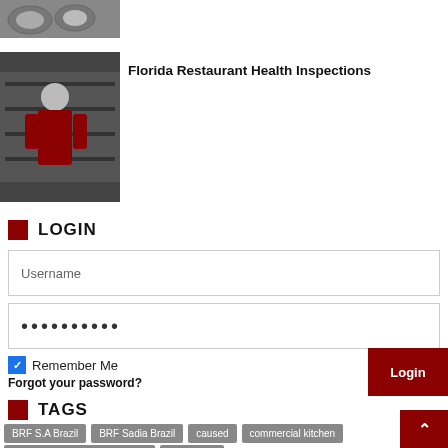[Figure (photo): Oysters on a tray, top partial view]
[Figure (photo): Person in red jacket working in a commercial kitchen]
Florida Restaurant Health Inspections
LOGIN
Username
••••••••••
Remember Me
Login
Forgot your password?
TAGS
BRF S.A Brazil
BRF Sadia Brazil
caused
commercial kitchen
commercial kitchen equipment
completely